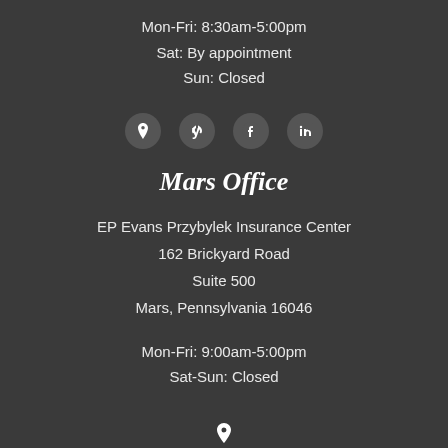Mon-Fri: 8:30am-5:00pm
Sat: By appointment
Sun: Closed
[Figure (infographic): Row of four social/map icons: map pin (location), Yelp, Facebook, LinkedIn]
Mars Office
EP Evans Przybylek Insurance Center
162 Brickyard Road
Suite 500
Mars, Pennsylvania 16046
Mon-Fri: 9:00am-5:00pm
Sat-Sun: Closed
[Figure (infographic): Partial map pin icon at the bottom of the page]